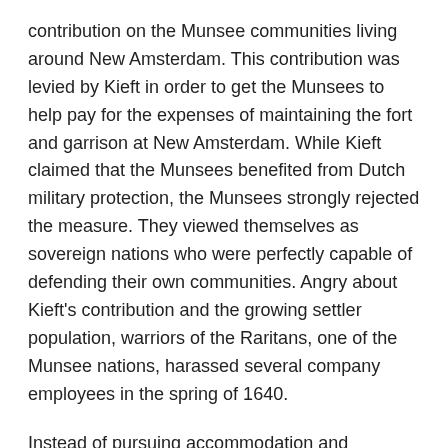contribution on the Munsee communities living around New Amsterdam. This contribution was levied by Kieft in order to get the Munsees to help pay for the expenses of maintaining the fort and garrison at New Amsterdam. While Kieft claimed that the Munsees benefited from Dutch military protection, the Munsees strongly rejected the measure. They viewed themselves as sovereign nations who were perfectly capable of defending their own communities. Angry about Kieft's contribution and the growing settler population, warriors of the Raritans, one of the Munsee nations, harassed several company employees in the spring of 1640.
Instead of pursuing accommodation and diplomacy, Kieft responded with a policy of intimidation and the threat of mass-violence. It is likely that he was familiar with the aggressive policies of the neighboring New England colonies who had waged a genocidal campaign against the Indigenous Pequot nation in 1637. Like the Puritan colonies in their war against the Pequot, Kieft believed that